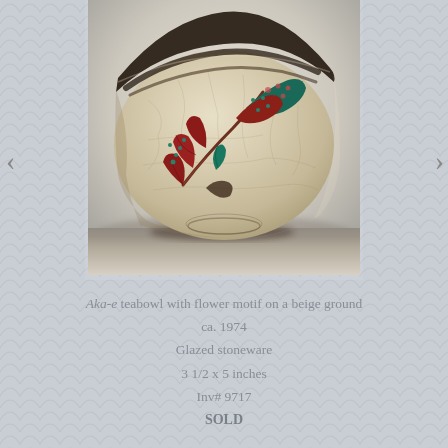[Figure (photo): A glazed stoneware tea bowl (Aka-e style) with flower motif on a beige/cream crackled ground, decorated with red and teal leaf/flower motifs and dark brown/black brushwork at the rim and base. Photographed on a light grey gradient background.]
Aka-e teabowl with flower motif on a beige ground
ca. 1974
Glazed stoneware
3 1/2 x 5 inches
Inv# 9717
SOLD